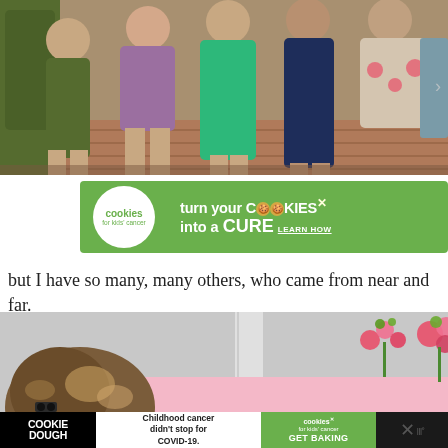[Figure (photo): Group of five women standing together outdoors, wearing colorful dresses: olive green, purple/mauve, emerald green, navy blue, and a floral/patterned outfit. Brick and greenery visible in background.]
[Figure (photo): Advertisement banner for Cookies for Kids' Cancer with green background: 'turn your COOKIES into a CURE LEARN HOW']
but I have so many, many others, who came from near and far.
[Figure (photo): Partial photo showing back of a woman's head with highlighted brown hair, a pillar, and pink flowers/floral arrangements on what appears to be a table with a pink cloth.]
[Figure (photo): Bottom advertisement banner: COOKIE DOUGH - Childhood cancer didn't stop for COVID-19. Cookies for Kids' Cancer logo. GET BAKING. Close button X. Mealthy logo.]